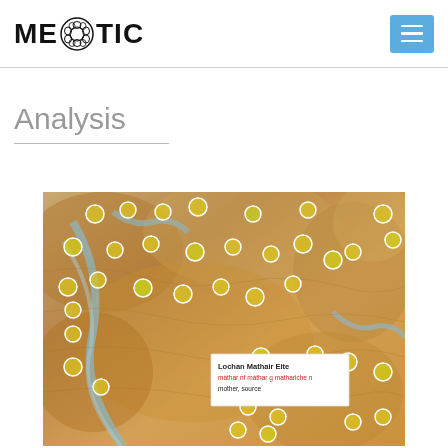MEIOTIC
Analysis
[Figure (map): Topographic map with yellow circle markers indicating sample locations. A tooltip popup reads: 'Lochan Mathair Eite / màthar nf màthar g mathariche/ mother, source']